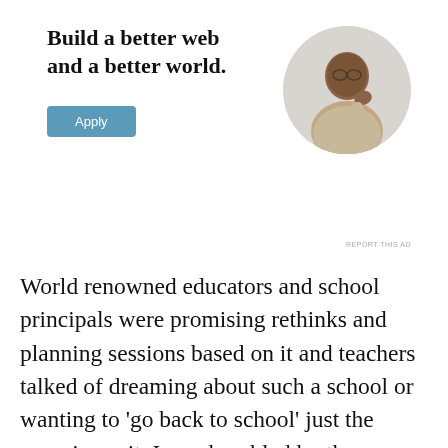[Figure (photo): Advertisement banner with bold text 'Build a better web and a better world.', an Apply button, and a circular photo of a man thinking at a desk.]
World renowned educators and school principals were promising rethinks and planning sessions based on it and teachers talked of dreaming about such a school or wanting to 'go back to school' just the experience it. I was humbled by the response but at the same time, not surprised. But what